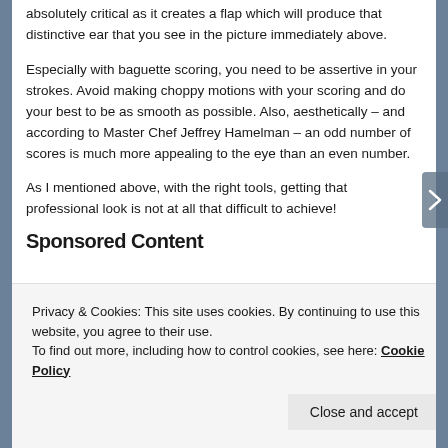absolutely critical as it creates a flap which will produce that distinctive ear that you see in the picture immediately above.
Especially with baguette scoring, you need to be assertive in your strokes. Avoid making choppy motions with your scoring and do your best to be as smooth as possible. Also, aesthetically – and according to Master Chef Jeffrey Hamelman – an odd number of scores is much more appealing to the eye than an even number.
As I mentioned above, with the right tools, getting that professional look is not at all that difficult to achieve!
Sponsored Content
Privacy & Cookies: This site uses cookies. By continuing to use this website, you agree to their use.
To find out more, including how to control cookies, see here: Cookie Policy